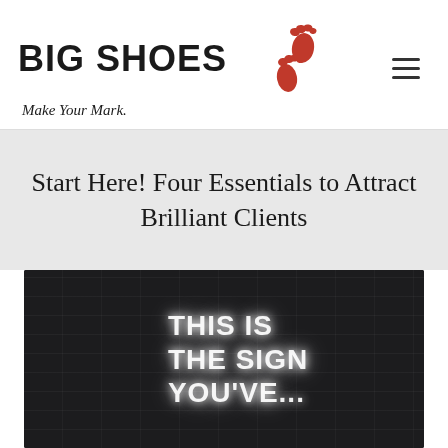[Figure (logo): Big Shoes logo with red footprint icons and tagline 'Make Your Mark.']
Start Here! Four Essentials to Attract Brilliant Clients
[Figure (photo): Dark photo of a neon sign on a brick wall reading 'THIS IS THE SIGN YOU'VE...']